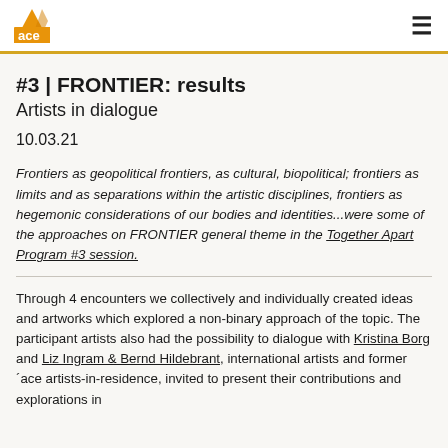ace | ☰
#3 | FRONTIER: results
Artists in dialogue
10.03.21
Frontiers as geopolitical frontiers, as cultural, biopolitical; frontiers as limits and as separations within the artistic disciplines, frontiers as hegemonic considerations of our bodies and identities...were some of the approaches on FRONTIER general theme in the Together Apart Program #3 session.
Through 4 encounters we collectively and individually created ideas and artworks which explored a non-binary approach of the topic. The participant artists also had the possibility to dialogue with Kristina Borg and Liz Ingram & Bernd Hildebrant, international artists and former ´ace artists-in-residence, invited to present their contributions and explorations in